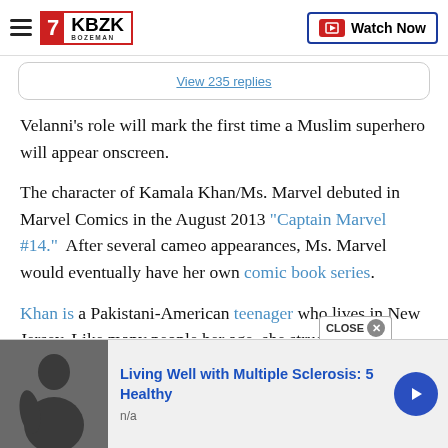7KBZK BOZEMAN | Watch Now
View 235 replies
Velanni's role will mark the first time a Muslim superhero will appear onscreen.
The character of Kamala Khan/Ms. Marvel debuted in Marvel Comics in the August 2013 “Captain Marvel #14.”  After several cameo appearances, Ms. Marvel would eventually have her own comic book series.
Khan is a Pakistani-American teenager who lives in New Jersey. Like many people her age, she strugg
[Figure (screenshot): Advertisement banner: Living Well with Multiple Sclerosis: 5 Healthy, n/a, with a photo and navigation arrow]